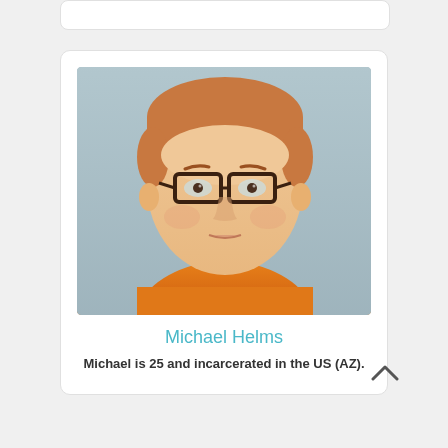[Figure (photo): Mugshot of a young man with short reddish-blonde hair wearing dark-framed glasses and an orange shirt/jumpsuit, photographed against a teal/grey background]
Michael Helms
Michael is 25 and incarcerated in the US (AZ).